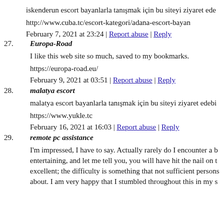iskenderun escort bayanlarla tanışmak için bu siteyi ziyaret ede...
http://www.cuba.tc/escort-kategori/adana-escort-bayan
February 7, 2021 at 23:24 | Report abuse | Reply
27. Europa-Road
I like this web site so much, saved to my bookmarks.
https://europa-road.eu/
February 9, 2021 at 03:51 | Report abuse | Reply
28. malatya escort
malatya escort bayanlarla tanışmak için bu siteyi ziyaret edebi...
https://www.yukle.tc
February 16, 2021 at 16:03 | Report abuse | Reply
29. remote pc assistance
I'm impressed, I have to say. Actually rarely do I encounter a b... entertaining, and let me tell you, you will have hit the nail on t... excellent; the difficulty is something that not sufficient persons... about. I am very happy that I stumbled throughout this in my s...